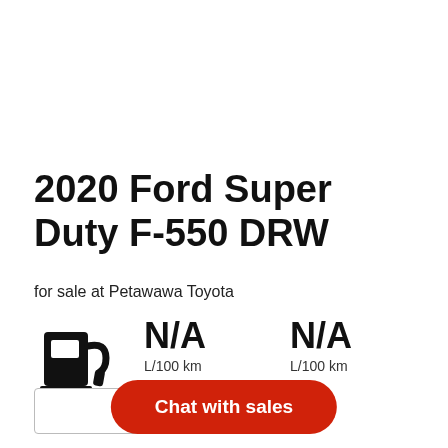2020 Ford Super Duty F-550 DRW
for sale at Petawawa Toyota
[Figure (illustration): Fuel pump icon in black]
N/A
L/100 km
N/A
L/100 km
Chat with sales